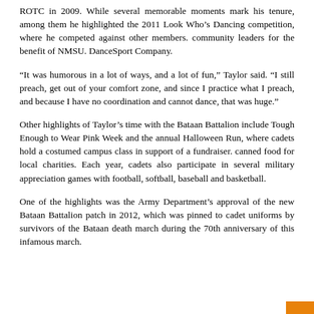ROTC in 2009. While several memorable moments mark his tenure, among them he highlighted the 2011 Look Who’s Dancing competition, where he competed against other members. community leaders for the benefit of NMSU. DanceSport Company.
“It was humorous in a lot of ways, and a lot of fun,” Taylor said. “I still preach, get out of your comfort zone, and since I practice what I preach, and because I have no coordination and cannot dance, that was huge.”
Other highlights of Taylor’s time with the Bataan Battalion include Tough Enough to Wear Pink Week and the annual Halloween Run, where cadets hold a costumed campus class in support of a fundraiser. canned food for local charities. Each year, cadets also participate in several military appreciation games with football, softball, baseball and basketball.
One of the highlights was the Army Department’s approval of the new Bataan Battalion patch in 2012, which was pinned to cadet uniforms by survivors of the Bataan death march during the 70th anniversary of this infamous march.